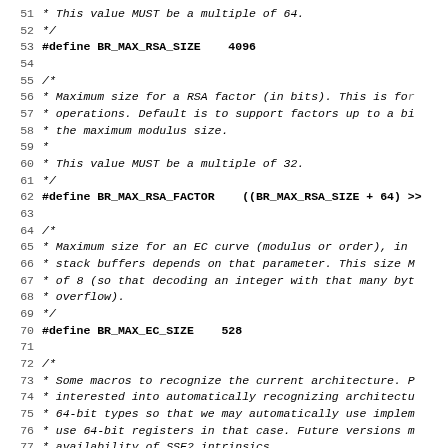Source code listing lines 51-82 from a C header file defining BR_MAX_RSA_SIZE, BR_MAX_RSA_FACTOR, BR_MAX_EC_SIZE macros with documentation comments.